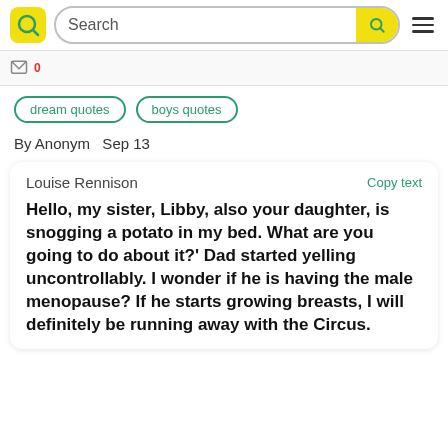Search
dream quotes   boys quotes
By Anonym  Sep 13
Louise Rennison   Copy text
Hello, my sister, Libby, also your daughter, is snogging a potato in my bed. What are you going to do about it?' Dad started yelling uncontrollably. I wonder if he is having the male menopause? If he starts growing breasts, I will definitely be running away with the Circus.